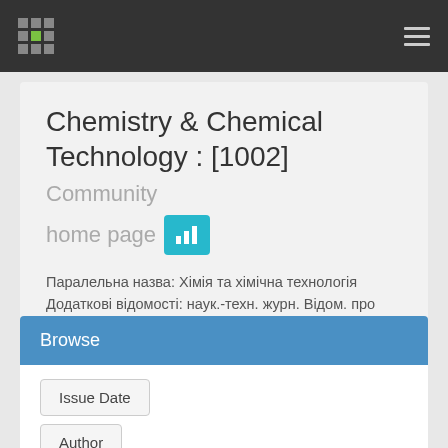Navigation bar with logo and menu icon
Chemistry & Chemical Technology : [1002] Community home page
Паралельна назва: Хімія та хімічна технологія Додаткові відомості: наук.-техн. журн. Відом. про відпов.: Lviv Politechnic National University
Browse
Issue Date
Author
Title